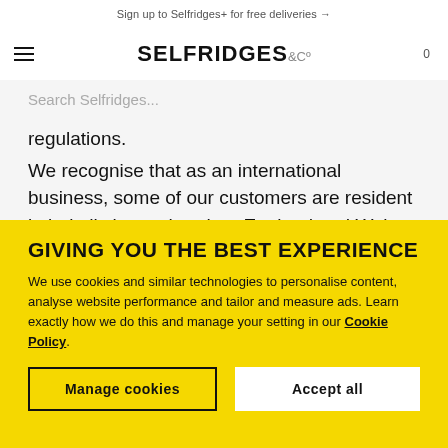Sign up to Selfridges+ for free deliveries →
[Figure (logo): Selfridges & Co logo with hamburger menu icon and cart count 0]
Search Selfridges...
regulations.
We recognise that as an international business, some of our customers are resident in jurisdictions other than England and Wales. In certain circumstances, local laws of these jurisdictions, may by way of their application, afford rights to a customer in respect of the personal data that they provide to us. We anticipate
GIVING YOU THE BEST EXPERIENCE
We use cookies and similar technologies to personalise content, analyse website performance and tailor and measure ads. Learn exactly how we do this and manage your setting in our Cookie Policy.
Manage cookies
Accept all